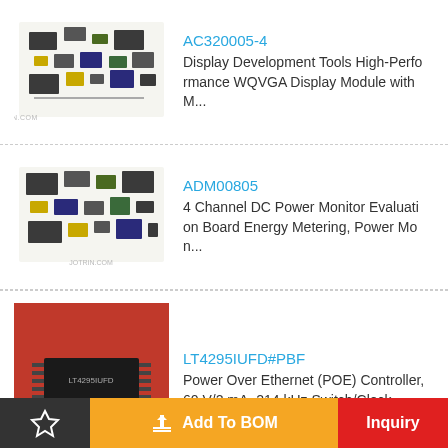AC320005-4 — Display Development Tools High-Performance WQVGA Display Module with M...
ADM00805 — 4 Channel DC Power Monitor Evaluation Board Energy Metering, Power Mon...
LT4295IUFD#PBF — Power Over Ethernet (POE) Controller, 60 V/2 mA, 214 kHz Switch/Clock,...
LTC2983ILX#PBF — LINEAR TECHNOLOGY LTC2983ILX#PBF Temperature Sensor IC, Digital, ±0.1